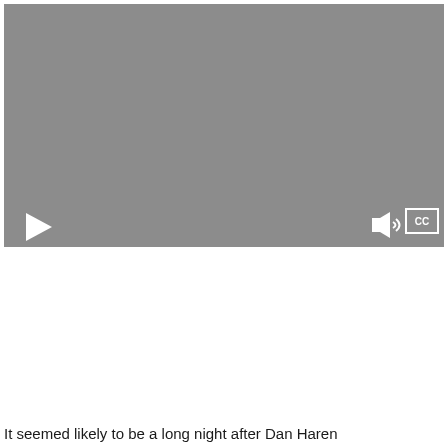[Figure (screenshot): Video player with gray background, play button on bottom left, volume icon and CC (closed captions) button on bottom right. The video area is mostly gray/empty.]
It seemed likely to be a long night after Dan Haren